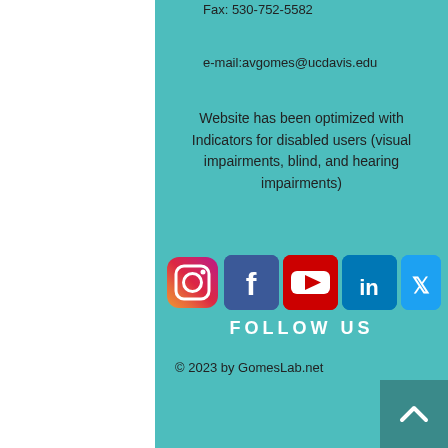Fax: 530-752-5582
e-mail:avgomes@ucdavis.edu
Website has been optimized with Indicators for disabled users (visual impairments, blind, and hearing impairments)
[Figure (infographic): Social media icons row: Instagram, Facebook, YouTube, LinkedIn, Twitter]
FOLLOW US
© 2023 by GomesLab.net